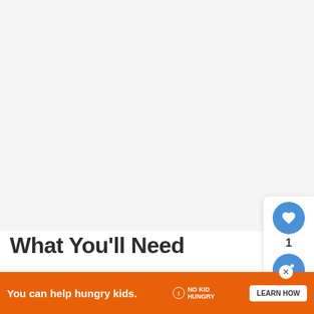What You'll Need
1 Can Black Beans
1 Can Kidney Beans